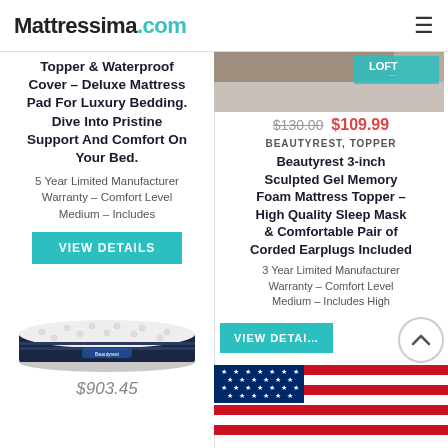Mattressima.com
Topper & Waterproof Cover – Deluxe Mattress Pad For Luxury Bedding. Dive Into Pristine Support And Comfort On Your Bed.
5 Year Limited Manufacturer Warranty – Comfort Level Medium – Includes
VIEW DETAILS
[Figure (photo): Beautyrest pillow-top mattress product photo, white and navy blue fabric]
$903.45
[Figure (photo): Mattress topper product photo with LOFT label visible]
$130.00  $109.99
BEAUTYREST, TOPPER
Beautyrest 3-inch Sculpted Gel Memory Foam Mattress Topper – High Quality Sleep Mask & Comfortable Pair of Corded Earplugs Included
3 Year Limited Manufacturer Warranty – Comfort Level Medium – Includes High
VIEW DETAILS
[Figure (photo): American flag image]